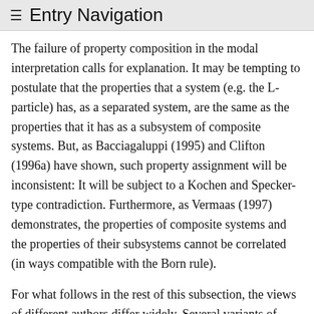≡ Entry Navigation
The failure of property composition in the modal interpretation calls for explanation. It may be tempting to postulate that the properties that a system (e.g. the L-particle) has, as a separated system, are the same as the properties that it has as a subsystem of composite systems. But, as Bacciagaluppi (1995) and Clifton (1996a) have shown, such property assignment will be inconsistent: It will be subject to a Kochen and Specker-type contradiction. Furthermore, as Vermaas (1997) demonstrates, the properties of composite systems and the properties of their subsystems cannot be correlated (in ways compatible with the Born rule).
For what follows in the rest of this subsection, the views of different authors differ widely. Several variants of modal interpretations were developed in order to fix the problem of the failure of property composition. The most natural explanation of the failure of property composition is that quantum states assign relational rather than intrinsic properties to systems (see Kochen 1985, Bene and Dieks 2002, and Berkowitz and Hemmo 2005a,b). Fo...